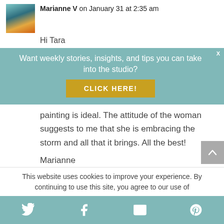Marianne V on January 31 at 2:35 am
Hi Tara
Want weekly stories, insights, and tips you can take into the studio?
CLICK HERE!
painting is ideal. The attitude of the woman suggests to me that she is embracing the storm and all that it brings. All the best!
Marianne
This website uses cookies to improve your experience. By continuing to use this site, you agree to our use of
[Figure (other): Social media share footer bar with Twitter, Facebook, Email, and Pinterest icons on teal background]